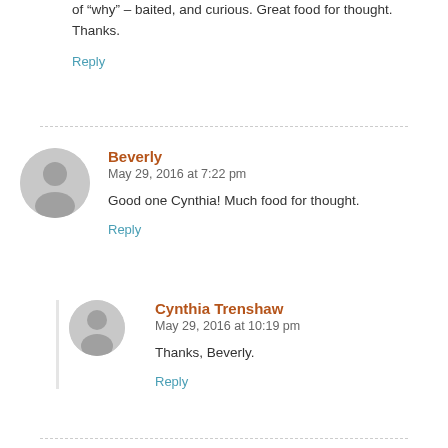of "why" – baited, and curious. Great food for thought. Thanks.
Reply
Beverly
May 29, 2016 at 7:22 pm
Good one Cynthia! Much food for thought.
Reply
Cynthia Trenshaw
May 29, 2016 at 10:19 pm
Thanks, Beverly.
Reply